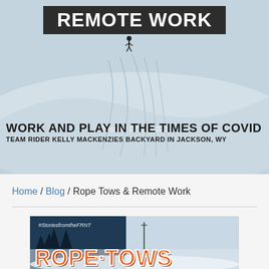[Figure (photo): Hero banner image showing a snow-covered mountain slope with ski tracks, a skier in the distance. Dark bar overlay at top reads 'REMOTE WORK'. Text overlay reads 'WORK AND PLAY IN THE TIMES OF COVID / TEAM RIDER KELLY MACKENZIES BACKYARD IN JACKSON, WY'. Posted date: 02.11.2021]
Posted: 02.11.2021
Home / Blog / Rope Tows & Remote Work
[Figure (photo): Second image showing snowy outdoor scene with orange bold text 'ROPE TOWS' and hashtag '#StoriesfromtheFRNT']